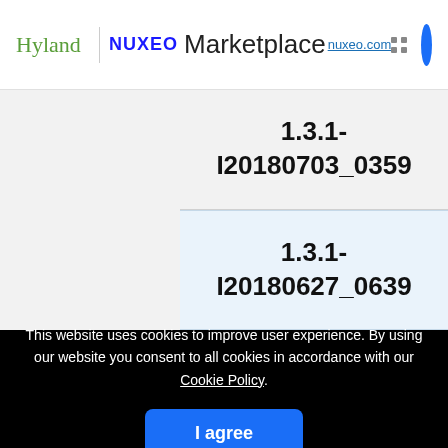Hyland | nuxeo Marketplace nuxeo.com
1.3.1-I20180703_0359
1.3.1-I20180627_0639
This website uses cookies to improve user experience. By using our website you consent to all cookies in accordance with our Cookie Policy.
I agree